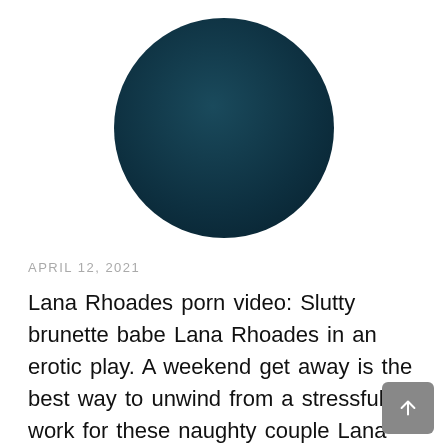[Figure (illustration): Dark teal/navy circular avatar placeholder image centered at top of page]
APRIL 12, 2021
Lana Rhoades porn video: Slutty brunette babe Lana Rhoades in an erotic play. A weekend get away is the best way to unwind from a stressful work for these naughty couple Lana Rhoades and Jean pleasing one another with an erotic play. Soon, she